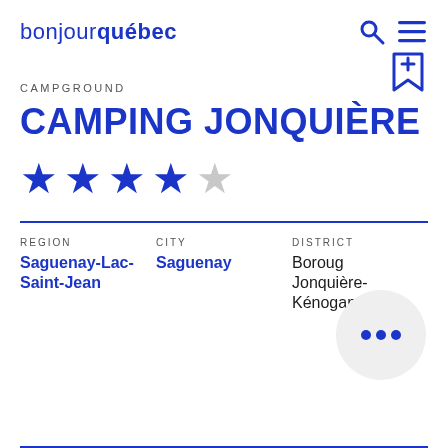bonjour québec
CAMPGROUND
CAMPING JONQUIÈRE
[Figure (infographic): 4 out of 5 star rating: 4 blue filled stars and 1 grey empty star]
REGION
Saguenay-Lac-Saint-Jean
CITY
Saguenay
DISTRICT
Borough Jonquière-Kénogami